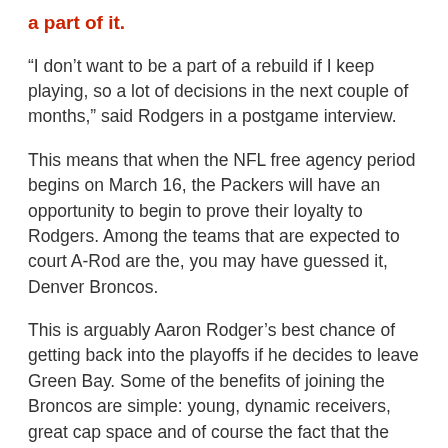a part of it.
“I don’t want to be a part of a rebuild if I keep playing, so a lot of decisions in the next couple of months,” said Rodgers in a postgame interview.
This means that when the NFL free agency period begins on March 16, the Packers will have an opportunity to begin to prove their loyalty to Rodgers. Among the teams that are expected to court A-Rod are the, you may have guessed it, Denver Broncos.
This is arguably Aaron Rodger’s best chance of getting back into the playoffs if he decides to leave Green Bay. Some of the benefits of joining the Broncos are simple: young, dynamic receivers, great cap space and of course the fact that the newly appointed head coach, Hackett, has helped propelled Rodgers to an MVP season last year and the favorite to win the award again this season — beating out